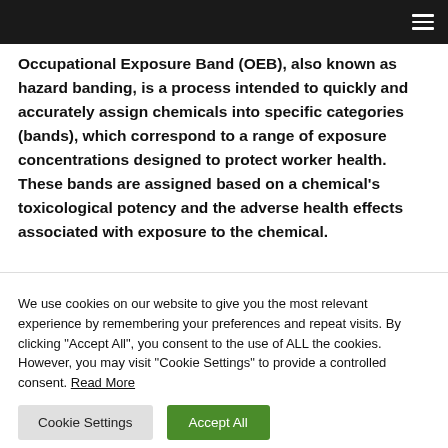[Navigation bar with hamburger menu]
Occupational Exposure Band (OEB), also known as hazard banding, is a process intended to quickly and accurately assign chemicals into specific categories (bands), which correspond to a range of exposure concentrations designed to protect worker health. These bands are assigned based on a chemical's toxicological potency and the adverse health effects associated with exposure to the chemical.
We use cookies on our website to give you the most relevant experience by remembering your preferences and repeat visits. By clicking "Accept All", you consent to the use of ALL the cookies. However, you may visit "Cookie Settings" to provide a controlled consent. Read More